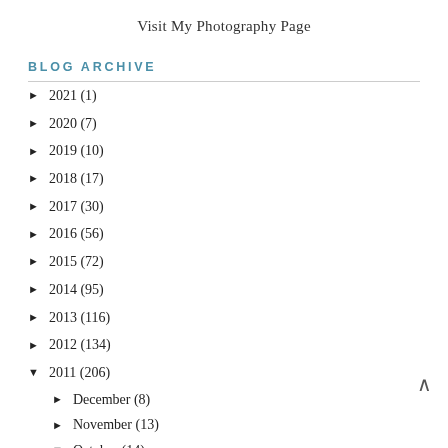Visit My Photography Page
BLOG ARCHIVE
► 2021 (1)
► 2020 (7)
► 2019 (10)
► 2018 (17)
► 2017 (30)
► 2016 (56)
► 2015 (72)
► 2014 (95)
► 2013 (116)
► 2012 (134)
▼ 2011 (206)
► December (8)
► November (13)
▼ October (14)
Birthday Dance!!!! WOOOO It's Ben's BIRTHDAY!
Dear John